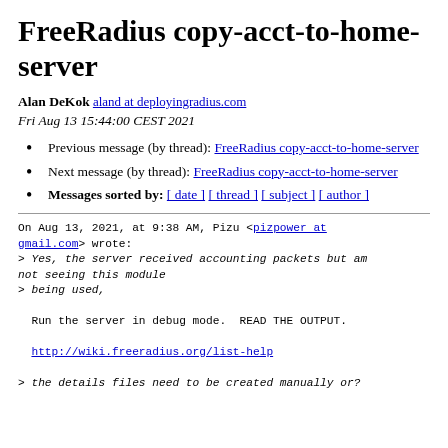FreeRadius copy-acct-to-home-server
Alan DeKok aland at deployingradius.com
Fri Aug 13 15:44:00 CEST 2021
Previous message (by thread): FreeRadius copy-acct-to-home-server
Next message (by thread): FreeRadius copy-acct-to-home-server
Messages sorted by: [ date ] [ thread ] [ subject ] [ author ]
On Aug 13, 2021, at 9:38 AM, Pizu <pizpower at gmail.com> wrote:
> Yes, the server received accounting packets but am not seeing this module
> being used,

  Run the server in debug mode.  READ THE OUTPUT.

  http://wiki.freeradius.org/list-help

> the details files need to be created manually or?